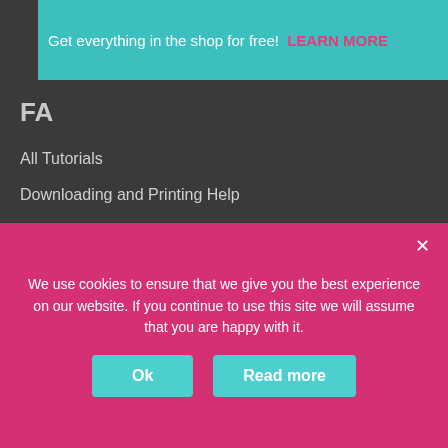[Figure (infographic): Teal promotional banner: 'Get everything in the shop for free! LEARN MORE']
FA…
All Tutorials
Downloading and Printing Help
Digital Resources Tutorials
Tu…
All…
FA…
Video Library FAQ Page
[Figure (logo): Pink Oatmeal Shop logo with shopping cart showing 1 item and hamburger menu]
We use cookies to ensure that we give you the best experience on our website. If you continue to use this site we will assume that you are happy with it.
Ok   Read more